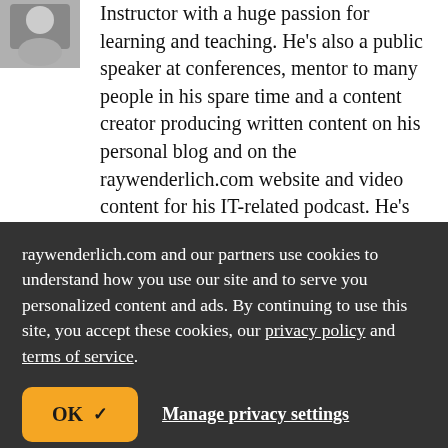[Figure (photo): Partially visible profile photo in top-left corner]
Instructor with a huge passion for learning and teaching. He's also a public speaker at conferences, mentor to many people in his spare time and a content creator producing written content on his personal blog and on the raywenderlich.com website and video content for his IT-related podcast. He's also a Google Developer Expert for Android & Kotlin. When he's not talking about coding, writing about coding or coding in general, he
raywenderlich.com and our partners use cookies to understand how you use our site and to serve you personalized content and ads. By continuing to use this site, you accept these cookies, our privacy policy and terms of service.
OK ✓
Manage privacy settings